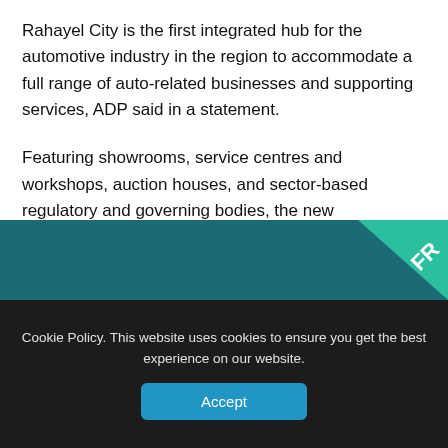Rahayel City is the first integrated hub for the automotive industry in the region to accommodate a full range of auto-related businesses and supporting services, ADP said in a statement.
Featuring showrooms, service centres and workshops, auction houses, and sector-based regulatory and governing bodies, the new development is also home to a vehicle test track, an inspection facility, and an auto training centre.
[Figure (other): Teal/dark teal banner with a green diagonal stripe in the top-right corner containing partial text 'FR']
Cookie Policy. This website uses cookies to ensure you get the best experience on our website.